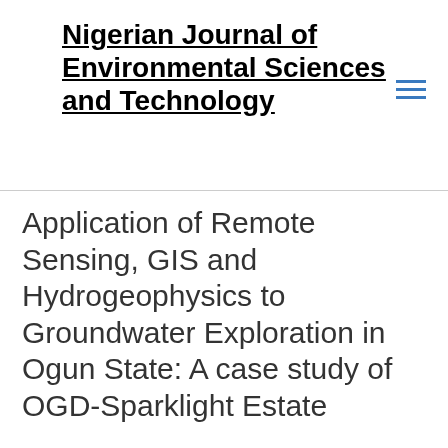Nigerian Journal of Environmental Sciences and Technology
Application of Remote Sensing, GIS and Hydrogeophysics to Groundwater Exploration in Ogun State: A case study of OGD-Sparklight Estate